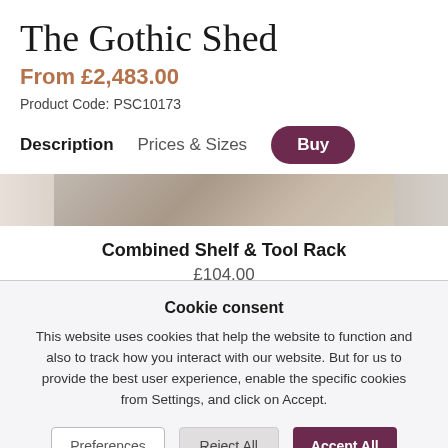The Gothic Shed
From £2,483.00
Product Code: PSC10173
Description   Prices & Sizes   Buy
[Figure (photo): Interior photo strip of a shed/storage area]
Combined Shelf & Tool Rack
£104.00
Cookie consent
This website uses cookies that help the website to function and also to track how you interact with our website. But for us to provide the best user experience, enable the specific cookies from Settings, and click on Accept.
Preferences   Reject All   Accept All